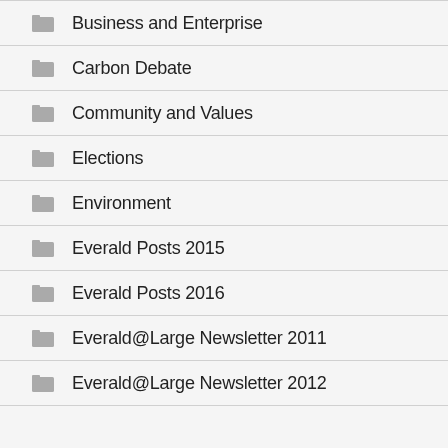Business and Enterprise
Carbon Debate
Community and Values
Elections
Environment
Everald Posts 2015
Everald Posts 2016
Everald@Large Newsletter 2011
Everald@Large Newsletter 2012